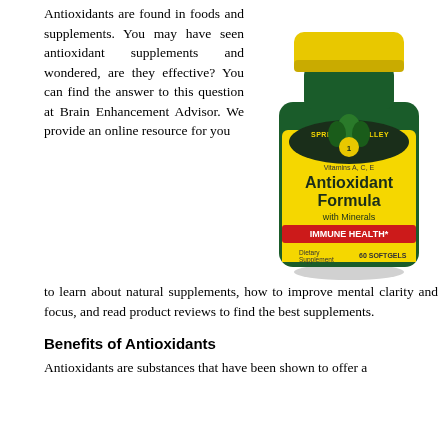Antioxidants are found in foods and supplements. You may have seen antioxidant supplements and wondered, are they effective? You can find the answer to this question at Brain Enhancement Advisor. We provide an online resource for you to learn about natural supplements, how to improve mental clarity and focus, and read product reviews to find the best supplements.
[Figure (photo): A bottle of Spring Valley Antioxidant Formula with Minerals supplement, Vitamins A, C, E, Immune Health, Dietary Supplement, 60 Softgels, with a yellow cap and green bottle with yellow label.]
Benefits of Antioxidants
Antioxidants are substances that have been shown to offer a